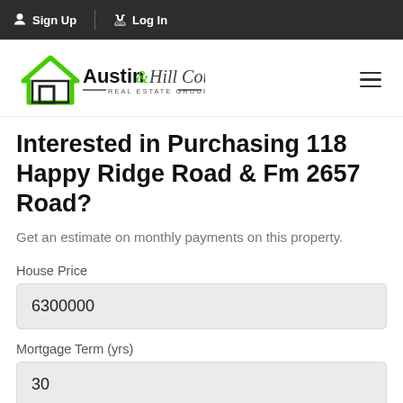Sign Up  Log In
[Figure (logo): Austin & Hill Country Real Estate Group logo with green house outline]
Interested in Purchasing 118 Happy Ridge Road & Fm 2657 Road?
Get an estimate on monthly payments on this property.
House Price
6300000
Mortgage Term (yrs)
30